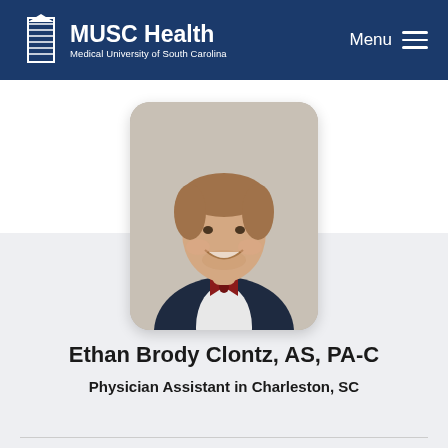MUSC Health — Medical University of South Carolina | Menu
[Figure (photo): Professional headshot of Ethan Brody Clontz, a young man with light brown hair wearing a navy blazer, white dress shirt, and red/navy striped bow tie, smiling against a neutral background.]
Ethan Brody Clontz, AS, PA-C
Physician Assistant in Charleston, SC